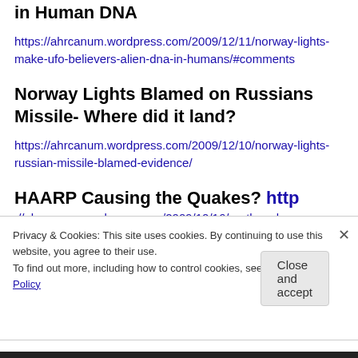in Human DNA
https://ahrcanum.wordpress.com/2009/12/11/norway-lights-make-ufo-believers-alien-dna-in-humans/#comments
Norway Lights Blamed on Russians Missile- Where did it land?
https://ahrcanum.wordpress.com/2009/12/10/norway-lights-russian-missile-blamed-evidence/
HAARP Causing the Quakes?
http://ahrcanum.wordpress.com/2009/10/16/earthquake-
Privacy & Cookies: This site uses cookies. By continuing to use this website, you agree to their use.
To find out more, including how to control cookies, see here: Cookie Policy
Close and accept